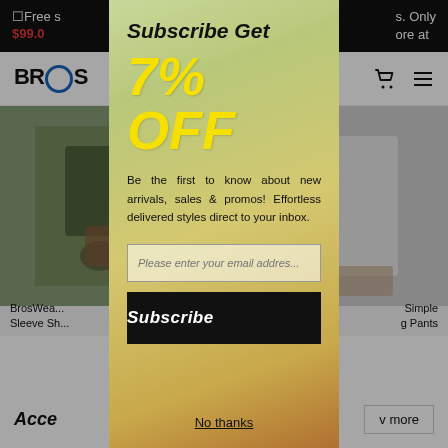Free s... $99.0... s. Only ...ore at
BROS (logo)
[Figure (photo): Background website with a clothing store (BrosWear), showing product images and navigation]
Subscribe Get
7% OFF
Be the first to know about new arrivals, sales & promos! Effortless delivered styles direct to your inbox.
Please enter your email address
Subscribe
No thanks